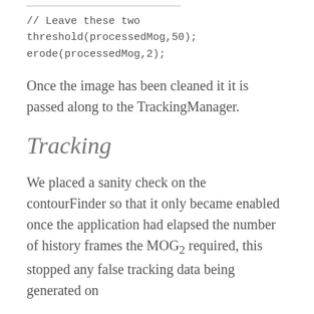// Leave these two
threshold(processedMog,50);
erode(processedMog,2);
Once the image has been cleaned it is passed along to the TrackingManager.
Tracking
We placed a sanity check on the contourFinder so that it only became enabled once the application had elapsed the number of history frames the MOG2 required, this stopped any false tracking data being generated on